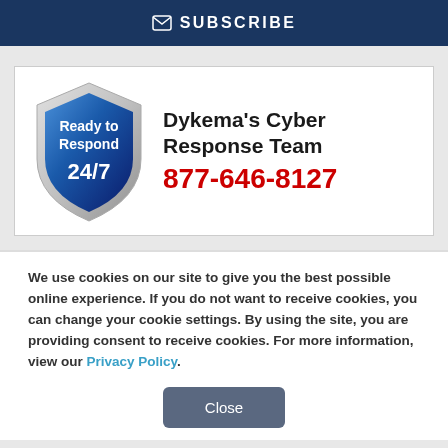✉ SUBSCRIBE
[Figure (logo): Dykema Cyber Response Team shield logo and advertisement. Shield shows 'Ready to Respond 24/7' text on a blue shield. Text reads: Dykema's Cyber Response Team 877-646-8127]
We use cookies on our site to give you the best possible online experience. If you do not want to receive cookies, you can change your cookie settings. By using the site, you are providing consent to receive cookies. For more information, view our Privacy Policy.
Close